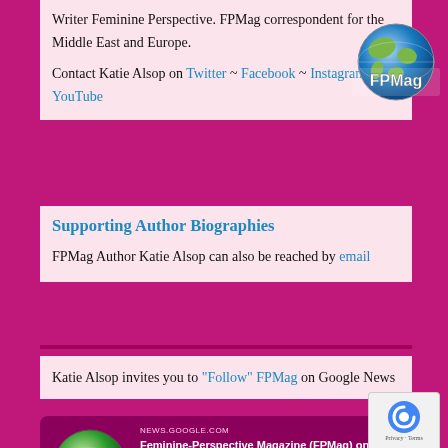Writer Feminine Perspective. FPMag correspondent for the Middle East and Europe.
Contact Katie Alsop on Twitter ~ Facebook ~ Instagram ~ YouTube
[Figure (logo): FPMag globe logo with text 'FPMag' overlaid on a globe graphic]
Supporting Author Biographies
FPMag Author Katie Alsop can also be reached by email
Katie Alsop invites you to "Follow" FPMag on Google News
[Figure (screenshot): Google News card showing Feminine-Perspective Magazine (FPMag) on Google News with FPMag globe logo and description text]